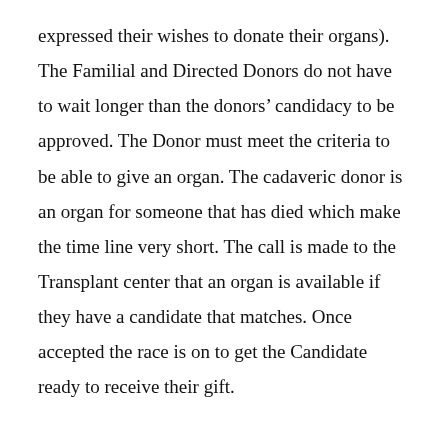expressed their wishes to donate their organs). The Familial and Directed Donors do not have to wait longer than the donors' candidacy to be approved. The Donor must meet the criteria to be able to give an organ. The cadaveric donor is an organ for someone that has died which make the time line very short. The call is made to the Transplant center that an organ is available if they have a candidate that matches. Once accepted the race is on to get the Candidate ready to receive their gift.
Phase 8: “The Transplantation Surgery” – This is the procedure that puts the donated organ into the recipient